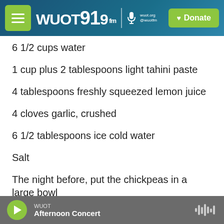WUOT 91.9 FM | Donate
6 1/2 cups water
1 cup plus 2 tablespoons light tahini paste
4 tablespoons freshly squeezed lemon juice
4 cloves garlic, crushed
6 1/2 tablespoons ice cold water
Salt
The night before, put the chickpeas in a large bowl
WUOT — Afternoon Concert